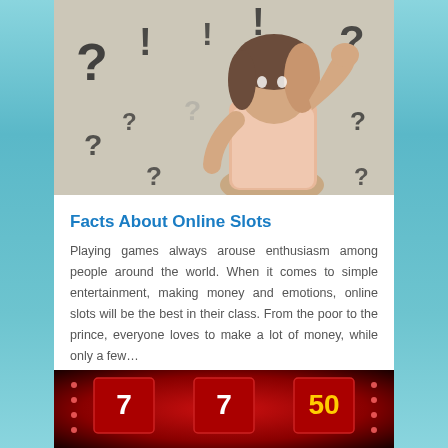[Figure (photo): Woman scratching her head surrounded by question mark illustrations on a beige background]
Facts About Online Slots
Playing games always arouse enthusiasm among people around the world. When it comes to simple entertainment, making money and emotions, online slots will be the best in their class. From the poor to the prince, everyone loves to make a lot of money, while only a few…
[Figure (photo): Red slot machine close-up with bright lights]